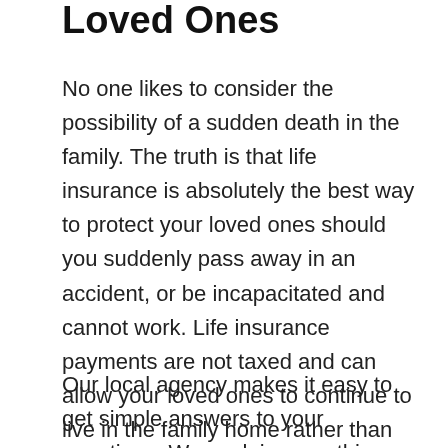Loved Ones
No one likes to consider the possibility of a sudden death in the family. The truth is that life insurance is absolutely the best way to protect your loved ones should you suddenly pass away in an accident, or be incapacitated and cannot work. Life insurance payments are not taxed and can allow your loved ones to continue to live in the family home rather than facing a terrible financial struggle. Life insurance is available either as a term policy, which is less expensive, or a whole life policy, in which equity builds up over time.
Our local agency makes it easy to get simple answers to your questions. We explain everything clearly so you can make a truly educated decision